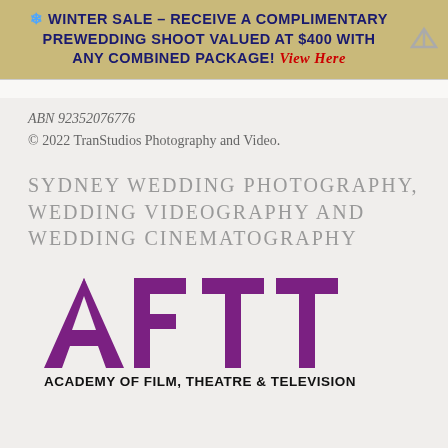❄ WINTER SALE – RECEIVE A COMPLIMENTARY PREWEDDING SHOOT VALUED AT $400 WITH ANY COMBINED PACKAGE! View Here
ABN 92352076776
© 2022 TranStudios Photography and Video.
SYDNEY WEDDING PHOTOGRAPHY, WEDDING VIDEOGRAPHY AND WEDDING CINEMATOGRAPHY
[Figure (logo): AFTT – Academy of Film, Theatre & Television logo in purple and black]